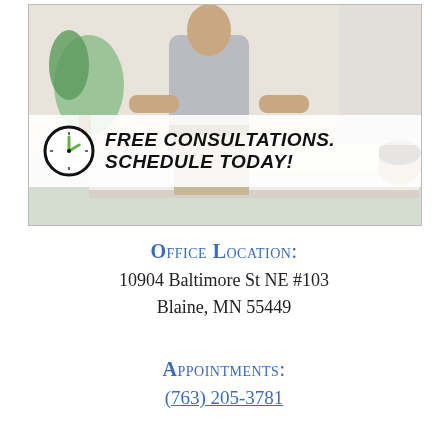[Figure (photo): Chiropractor performing spinal adjustment on patient lying on treatment table. Clinic setting with plants in background. Overlay banner reads: FREE CONSULTATIONS. SCHEDULE TODAY! with a clock icon.]
Office Location:
10904 Baltimore St NE #103
Blaine, MN 55449
Appointments:
(763) 205-3781